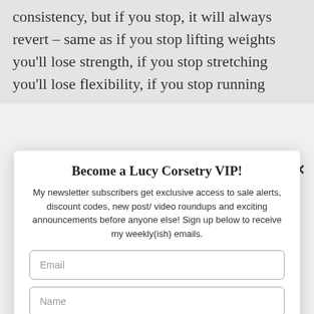consistency, but if you stop, it will always revert – same as if you stop lifting weights you'll lose strength, if you stop stretching you'll lose flexibility, if you stop running
Become a Lucy Corsetry VIP!
My newsletter subscribers get exclusive access to sale alerts, discount codes, new post/ video roundups and exciting announcements before anyone else! Sign up below to receive my weekly(ish) emails.
Email
Name
Opt in to receive news and updates.
SUBSCRIBE